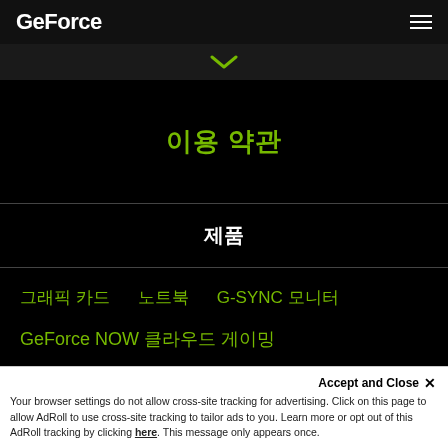GeForce
[Figure (other): Dark navigation band with green chevron/down arrow]
이용 약관
제품
그래픽 카드
노트북
G-SYNC 모니터
GeForce NOW 클라우드 게이밍
Accept and Close ×
Your browser settings do not allow cross-site tracking for advertising. Click on this page to allow AdRoll to use cross-site tracking to tailor ads to you. Learn more or opt out of this AdRoll tracking by clicking here. This message only appears once.